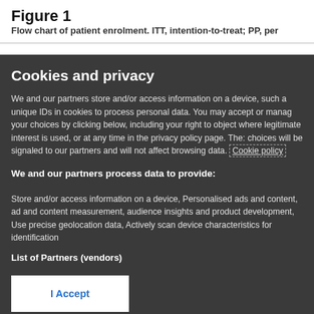Figure 1
Flow chart of patient enrolment. ITT, intention-to-treat; PP, per
Cookies and privacy
We and our partners store and/or access information on a device, such a unique IDs in cookies to process personal data. You may accept or manage your choices by clicking below, including your right to object where legitimate interest is used, or at any time in the privacy policy page. These choices will be signaled to our partners and will not affect browsing data. Cookie policy
We and our partners process data to provide:
Store and/or access information on a device, Personalised ads and content, ad and content measurement, audience insights and product development, Use precise geolocation data, Actively scan device characteristics for identification
List of Partners (vendors)
I Accept